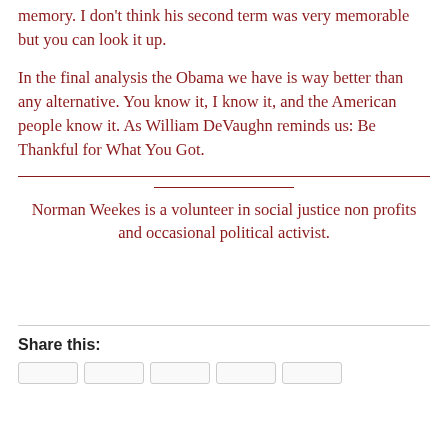memory. I don't think his second term was very memorable but you can look it up.
In the final analysis the Obama we have is way better than any alternative. You know it, I know it, and the American people know it. As William DeVaughn reminds us: Be Thankful for What You Got.
Norman Weekes is a volunteer in social justice non profits and occasional political activist.
Share this: